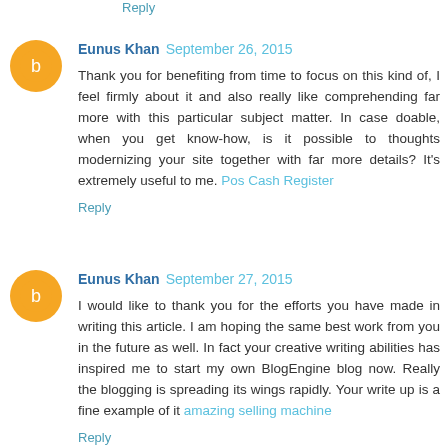Reply
Eunus Khan September 26, 2015
Thank you for benefiting from time to focus on this kind of, I feel firmly about it and also really like comprehending far more with this particular subject matter. In case doable, when you get know-how, is it possible to thoughts modernizing your site together with far more details? It's extremely useful to me. Pos Cash Register
Reply
Eunus Khan September 27, 2015
I would like to thank you for the efforts you have made in writing this article. I am hoping the same best work from you in the future as well. In fact your creative writing abilities has inspired me to start my own BlogEngine blog now. Really the blogging is spreading its wings rapidly. Your write up is a fine example of it amazing selling machine
Reply